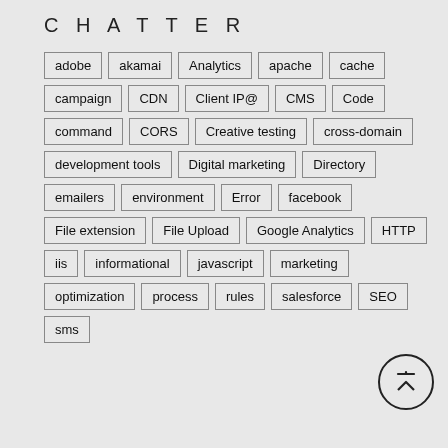CHATTER
adobe
akamai
Analytics
apache
cache
campaign
CDN
Client IP@
CMS
Code
command
CORS
Creative testing
cross-domain
development tools
Digital marketing
Directory
emailers
environment
Error
facebook
File extension
File Upload
Google Analytics
HTTP
iis
informational
javascript
marketing
optimization
process
rules
salesforce
SEO
sms